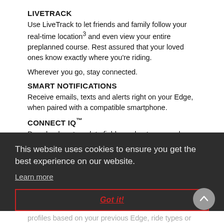LIVETRACK
Use LiveTrack to let friends and family follow your real-time location³ and even view your entire preplanned course. Rest assured that your loved ones know exactly where you're riding.
Wherever you go, stay connected.
SMART NOTIFICATIONS
Receive emails, texts and alerts right on your Edge, when paired with a compatible smartphone.
CONNECT IQ™
Download custom data fields, and get apps and widgets
This website uses cookies to ensure you get the best experience on our website.
Learn more
Got it!
profiles based on your previous Edge, ride types or your